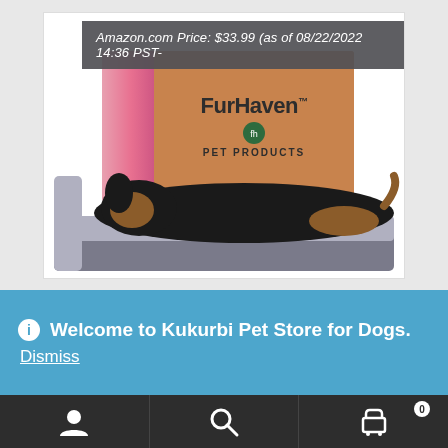[Figure (photo): Product photo showing a dog (black and tan) lying on a FurHaven pet sofa/bed, with a FurHaven Pet Products shipping box in the background and pink items to the left. A dark gray tooltip overlay reads: Amazon.com Price: $33.99 (as of 08/22/2022 14:36 PST-]
Amazon.com Price: $33.99 (as of 08/22/2022 14:36 PST-
Welcome to Kukurbi Pet Store for Dogs.
Dismiss